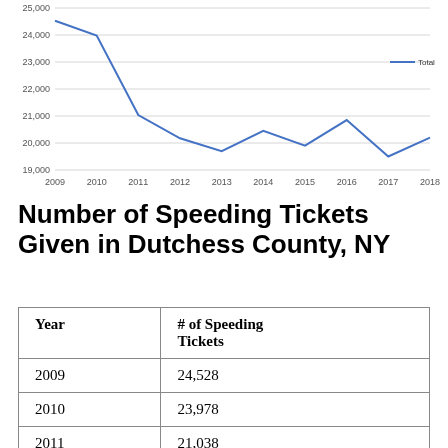[Figure (line-chart): Total Speeding Tickets]
Number of Speeding Tickets Given in Dutchess County, NY
| Year | # of Speeding Tickets |
| --- | --- |
| 2009 | 24,528 |
| 2010 | 23,978 |
| 2011 | 21,038 |
| 2012 | 20,175 |